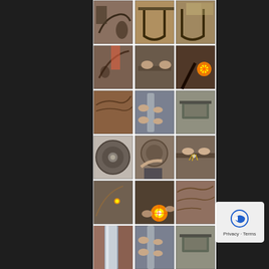[Figure (photo): Grid of 18 workshop/automotive restoration photos showing vehicle frame repair, welding, cutting with torch sparks, axle components, brake drums, and metal fabrication work on what appears to be a vintage military or civilian vehicle chassis restoration project.]